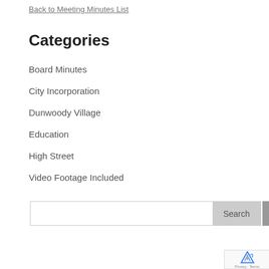Back to Meeting Minutes List
Categories
Board Minutes
City Incorporation
Dunwoody Village
Education
High Street
Video Footage Included
Search